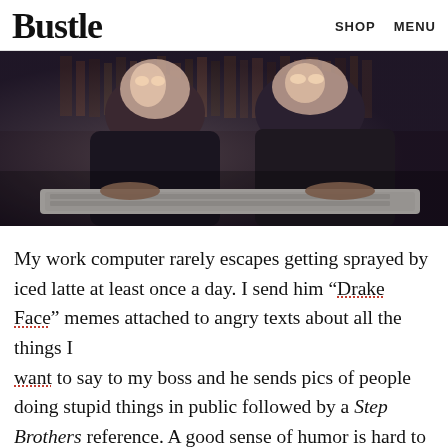Bustle   SHOP   MENU
[Figure (photo): Two people hunched very close to a keyboard/computer, appearing wide-eyed, in a dark library or office setting.]
My work computer rarely escapes getting sprayed by iced latte at least once a day. I send him “Drake Face” memes attached to angry texts about all the things I want to say to my boss and he sends pics of people doing stupid things in public followed by a Step Brothers reference. A good sense of humor is hard to find. Your soul mate will know how to touch you where it counts the most: Making you laugh until your